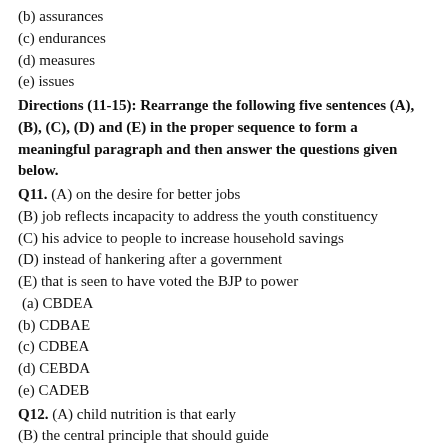(b) assurances
(c) endurances
(d) measures
(e) issues
Directions (11-15): Rearrange the following five sentences (A), (B), (C), (D) and (E) in the proper sequence to form a meaningful paragraph and then answer the questions given below.
Q11. (A) on the desire for better jobs
(B) job reflects incapacity to address the youth constituency
(C) his advice to people to increase household savings
(D) instead of hankering after a government
(E) that is seen to have voted the BJP to power
(a) CBDEA
(b) CDBAE
(c) CDBEA
(d) CEBDA
(e) CADEB
Q12. (A) child nutrition is that early
(B) the central principle that should guide
(C) the Centre in improving maternal and